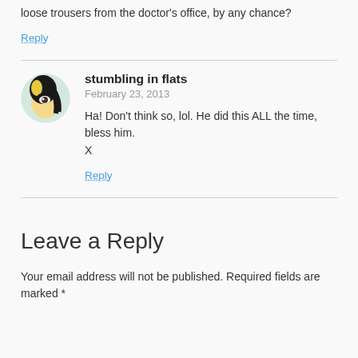loose trousers from the doctor's office, by any chance?
Reply
stumbling in flats
February 23, 2013
Ha! Don't think so, lol. He did this ALL the time, bless him.
X
Reply
Leave a Reply
Your email address will not be published. Required fields are marked *